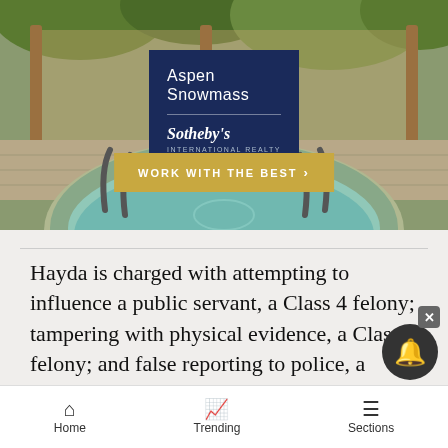[Figure (photo): Real estate advertisement showing a hot tub/pool with stone surround and lush greenery in the background. Aspen Snowmass Sotheby's International Realty logo displayed in a dark navy box. A gold 'WORK WITH THE BEST' call-to-action button below the logo.]
Hayda is charged with attempting to influence a public servant, a Class 4 felony; tampering with physical evidence, a Class 6 felony; and false reporting to police, a Class 3 misdemeanor.
Home   Trending   Sections